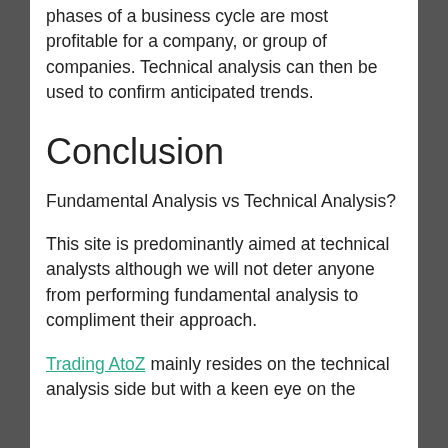phases of a business cycle are most profitable for a company, or group of companies. Technical analysis can then be used to confirm anticipated trends.
Conclusion
Fundamental Analysis vs Technical Analysis?
This site is predominantly aimed at technical analysts although we will not deter anyone from performing fundamental analysis to compliment their approach.
Trading AtoZ mainly resides on the technical analysis side but with a keen eye on the